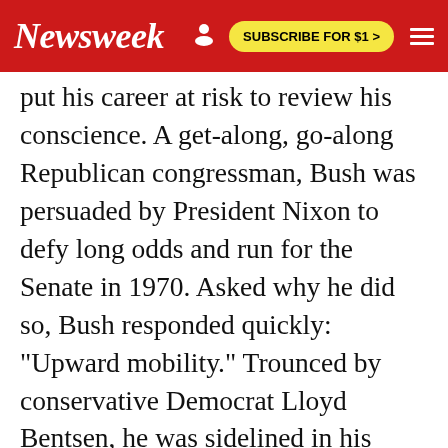Newsweek | SUBSCRIBE FOR $1 >
put his career at risk to review his conscience. A get-along, go-along Republican congressman, Bush was persuaded by President Nixon to defy long odds and run for the Senate in 1970. Asked why he did so, Bush responded quickly: "Upward mobility." Trounced by conservative Democrat Lloyd Bentsen, he was sidelined in his political career at the age of 46. Bush threw himself on the tender mercies of Richard Nixon, who had promised to take care of him if he lost. Deeply suspicious of Bush's class and background, Nixon was an ambivalent mentor.